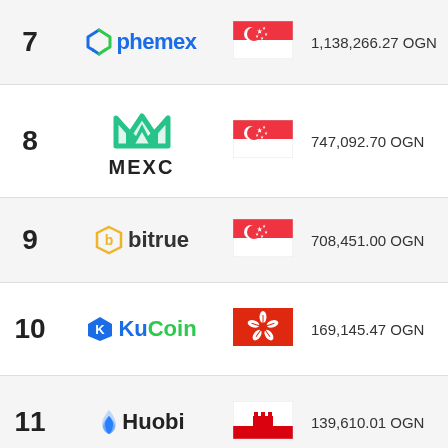| # | Exchange | Country | Volume | Price |
| --- | --- | --- | --- | --- |
| 7 | Phemex | Singapore | 1,138,266.27 OGN | 0.1691 |
| 8 | MEXC | Singapore | 747,092.70 OGN | 0.1691 |
| 9 | Bitrue | Singapore | 708,451.00 OGN | 0.1682 |
| 10 | KuCoin | Hong Kong | 169,145.47 OGN | 0.1691 |
| 11 | Huobi | Gibraltar | 139,610.01 OGN | 0.1684 |
| 12 | Gate.io | Cayman Islands | 93,623.76 OGN | 0.1680 |